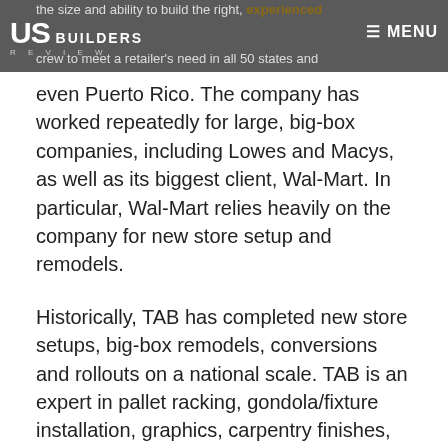the size and ability to build the right, experienced crew to meet a retailer's need in all 50 states and
even Puerto Rico. The company has worked repeatedly for large, big-box companies, including Lowes and Macys, as well as its biggest client, Wal-Mart. In particular, Wal-Mart relies heavily on the company for new store setup and remodels.
Historically, TAB has completed new store setups, big-box remodels, conversions and rollouts on a national scale. TAB is an expert in pallet racking, gondola/fixture installation, graphics, carpentry finishes, merchandising and layout.
The TAB team that arrives on the jobsite is directed by a knowledgeable and capable project